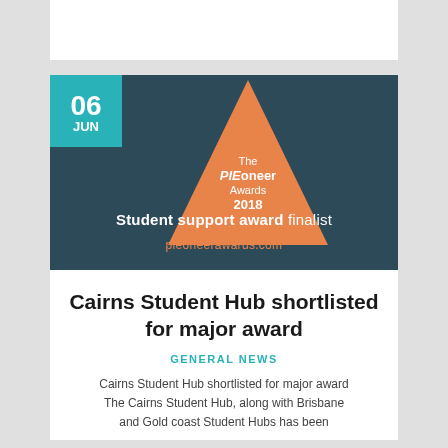[Figure (illustration): Banner with dark teal background showing date '06 JUN' in a teal box, an orange triangular pie-chart-like shape with text 'The PIEoneer Awards 2018', and text at bottom 'Student support award finalist' and 'pieoneerawards.com']
Cairns Student Hub shortlisted for major award
GENERAL NEWS
Cairns Student Hub shortlisted for major award The Cairns Student Hub, along with Brisbane and Gold coast Student Hubs has been